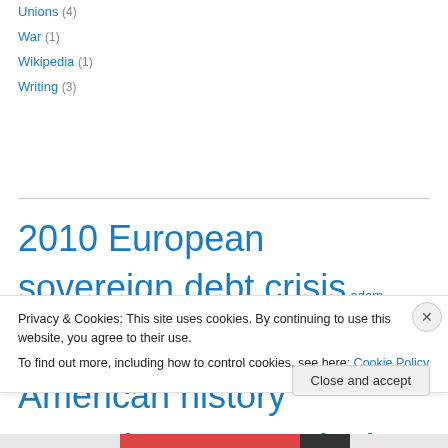Unions (4)
War (1)
Wikipedia (1)
Writing (3)
[Figure (infographic): Tag cloud with various topics in different font sizes indicating frequency: 2010 European sovereign debt crisis, adam smith, alexander hamilton, American history, American Revolution, Aristotle, Barack Obama, Ben Bernanke, big government, Bond credit rating, Books]
Privacy & Cookies: This site uses cookies. By continuing to use this website, you agree to their use. To find out more, including how to control cookies, see here: Cookie Policy
Close and accept